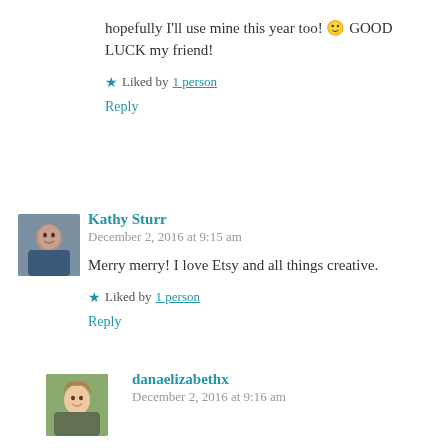hopefully I'll use mine this year too! 🙂 GOOD LUCK my friend!
★ Liked by 1 person
Reply
[Figure (photo): Avatar photo of Kathy Sturr]
Kathy Sturr
December 2, 2016 at 9:15 am
Merry merry! I love Etsy and all things creative.
★ Liked by 1 person
Reply
[Figure (photo): Avatar photo of danaelizabethx]
danaelizabethx
December 2, 2016 at 9:16 am